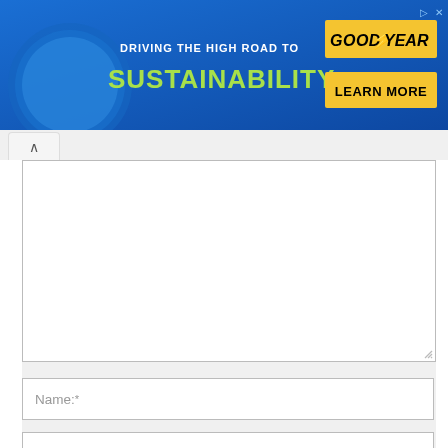[Figure (illustration): Goodyear advertisement banner with blue background. Text reads 'DRIVING THE HIGH ROAD TO SUSTAINABILITY' with a green SUSTAINABILITY text. Goodyear logo in yellow italic and a yellow 'LEARN MORE' button on the right.]
Comment:
Name:*
Email:*
Website:
Save my name, email, and website in this browser for the next time I